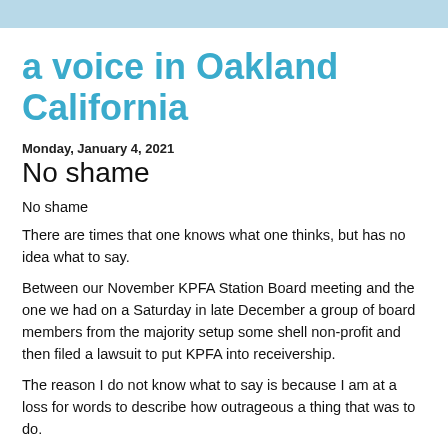a voice in Oakland California
Monday, January 4, 2021
No shame
No shame
There are times that one knows what one thinks, but has no idea what to say.
Between our November KPFA Station Board meeting and the one we had on a Saturday in late December a group of board members from the majority setup some shell non-profit and then filed a lawsuit to put KPFA into receivership.
The reason I do not know what to say is because I am at a loss for words to describe how outrageous a thing that was to do.